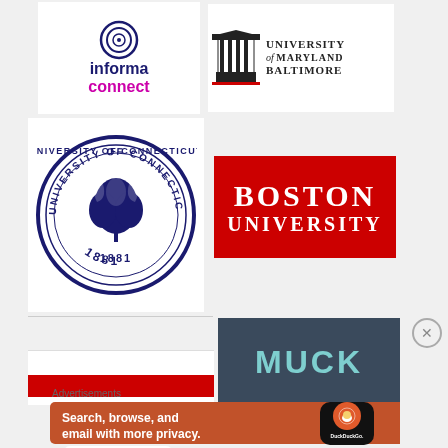[Figure (logo): Informa Connect logo with circular icon and text 'informa' in dark blue and 'connect' in magenta]
[Figure (logo): University of Maryland Baltimore logo with columned building icon and text]
[Figure (logo): University of Connecticut circular seal with oak tree design and year 1881]
[Figure (logo): Boston University logo in red rectangle with white serif text]
[Figure (logo): MUCK logo in teal text on dark blue-gray background]
[Figure (logo): Partially visible red logo at bottom left]
Advertisements
[Figure (infographic): DuckDuckGo advertisement: Search, browse, and email with more privacy. All in One Free App. Orange background with phone showing DuckDuckGo logo.]